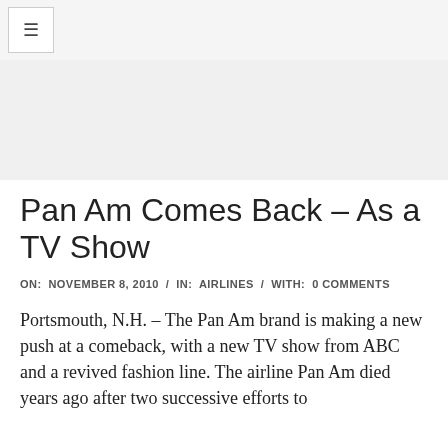≡
[Figure (other): Advertisement / banner image placeholder area]
Pan Am Comes Back – As a TV Show
ON:  NOVEMBER 8, 2010  /  IN:  AIRLINES  /  WITH:  0 COMMENTS
Portsmouth, N.H. – The Pan Am brand is making a new push at a comeback, with a new TV show from ABC and a revived fashion line. The airline Pan Am died years ago after two successive efforts to